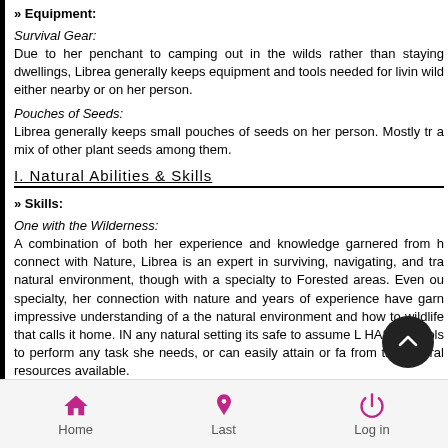» Equipment:
Survival Gear:
Due to her penchant to camping out in the wilds rather than staying dwellings, Librea generally keeps equipment and tools needed for living wild either nearby or on her person.
Pouches of Seeds:
Librea generally keeps small pouches of seeds on her person. Mostly tr a mix of other plant seeds among them.
I. Natural Abilities & Skills
» Skills:
One with the Wilderness:
A combination of both her experience and knowledge garnered from h connect with Nature, Librea is an expert in surviving, navigating, and tra natural environment, though with a specialty to Forested areas. Even ou specialty, her connection with nature and years of experience have garn impressive understanding of a the natural environment and how to wildlife that calls it home. IN any natural setting its safe to assume L HAS the tools to perform any task she needs, or can easily attain or fa from the natural resources available.
Natural Sentry:
Librea's ability to sense spirit energy and connect with the souls of b and nature give her a very keen ability to sense living things in her s
Home   Last   Log in